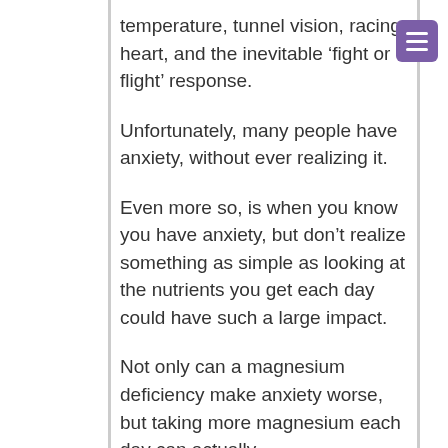temperature, tunnel vision, racing heart, and the inevitable ‘fight or flight’ response.
Unfortunately, many people have anxiety, without ever realizing it.
Even more so, is when you know you have anxiety, but don’t realize something as simple as looking at the nutrients you get each day could have such a large impact.
Not only can a magnesium deficiency make anxiety worse, but taking more magnesium each day can actually